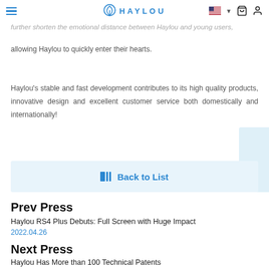HAYLOU [navigation bar with hamburger menu, logo, flag, cart, user icons]
further shorten the emotional distance between Haylou and young users, allowing Haylou to quickly enter their hearts.
Haylou's stable and fast development contributes to its high quality products, innovative design and excellent customer service both domestically and internationally!
Back to List
Prev Press
Haylou RS4 Plus Debuts: Full Screen with Huge Impact
2022.04.26
Next Press
Haylou Has More than 100 Technical Patents
2020.01.09